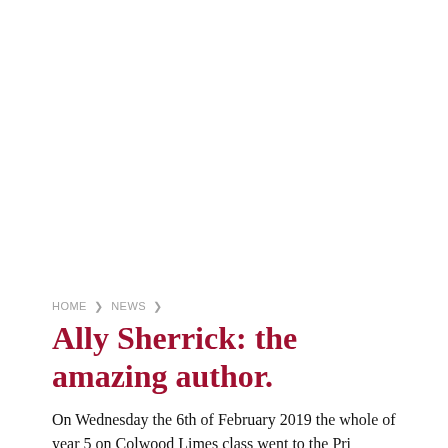HOME ▸ NEWS ▸
Ally Sherrick: the amazing author.
On Wednesday the 6th of February 2019 the whole of year 5 on Colwood Limes class went to the Pri...